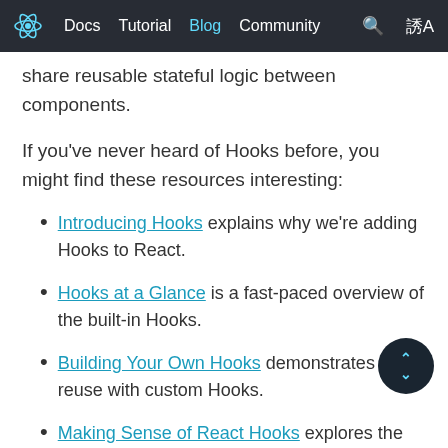React logo | Docs | Tutorial | Blog | Community | search | translate
share reusable stateful logic between components.
If you've never heard of Hooks before, you might find these resources interesting:
Introducing Hooks explains why we're adding Hooks to React.
Hooks at a Glance is a fast-paced overview of the built-in Hooks.
Building Your Own Hooks demonstrates code reuse with custom Hooks.
Making Sense of React Hooks explores the new possibilities unlocked by Hooks.
useHooks.com showcases community-maintained Hooks recipes and demos.